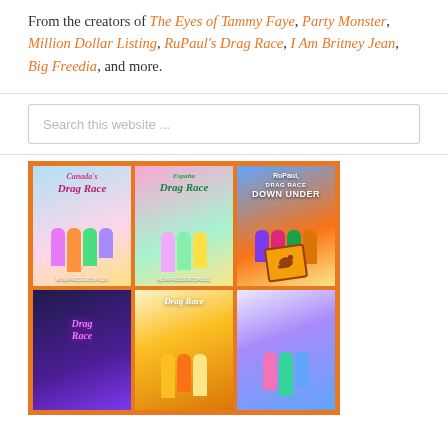From the creators of The Eyes of Tammy Faye, Party Monster, Million Dollar Listing, RuPaul's Drag Race, I Am Britney Jean, Big Freedia, and more.
Search this website ...
[Figure (other): Orange-bordered grid of 6 TV show poster images: Canada's Drag Race, España Drag Race, RuPaul's Drag Race Down Under (top row), Drag Race (dark), Drag Race Italia, Drag Race (colorful bottom row)]